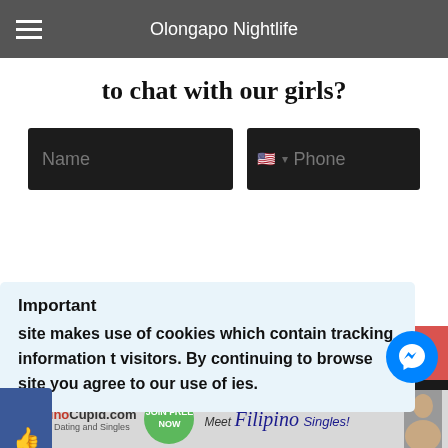Olongapo Nightlife
to chat with our girls?
[Figure (screenshot): Web form with Name and Phone input fields on dark background]
SUBMIT
Important
site makes use of cookies which contain tracking information t visitors. By continuing to browse site you agree to our use of ies.
[Figure (logo): Facebook like/share tab on left side]
[Figure (logo): Messenger chat button bottom right]
[Figure (infographic): FilipinoCupid.com advertisement banner - Filipino Dating and Singles, JOIN FREE NOW, Meet Filipino Singles!]